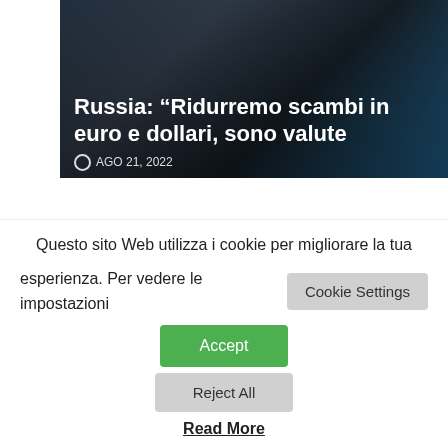[Figure (photo): Dark-toned article card showing currency/dollar imagery with white bold text headline about Russia and currencies in euros and dollars, with a timestamp of AGO 21, 2022]
Russia: "Ridurremo scambi in euro e dollari, sono valute
AGO 21, 2022
[Figure (photo): Photo of a classroom with blackboards, desks and a student, with a blue 'ULTIMA ORA' badge and white bold text headline 'Scuola, a settembre tutti in...']
Questo sito Web utilizza i cookie per migliorare la tua esperienza. Per vedere le impostazioni
Cookie Settings
Accept
Reject All
Read More